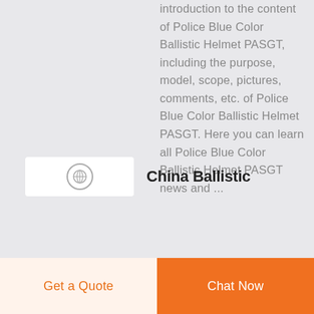introduction to the content of Police Blue Color Ballistic Helmet PASGT, including the purpose, model, scope, pictures, comments, etc. of Police Blue Color Ballistic Helmet PASGT. Here you can learn all Police Blue Color Ballistic Helmet PASGT news and ...
China Ballistic
Get a Quote
Chat Now